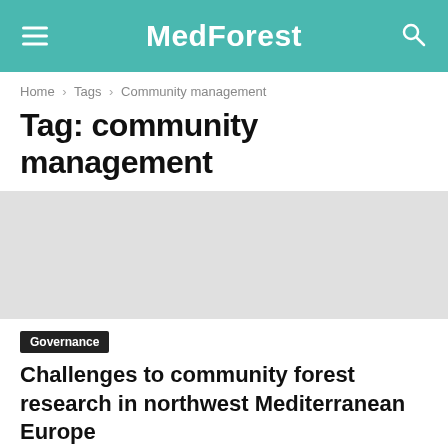MedForest
Home › Tags › Community management
Tag: community management
[Figure (photo): Placeholder image area for an article thumbnail]
Governance
Challenges to community forest research in northwest Mediterranean Europe
ISA - University of Lisbon – November 20, 2019
Does our research make a difference for forests, rural areas and